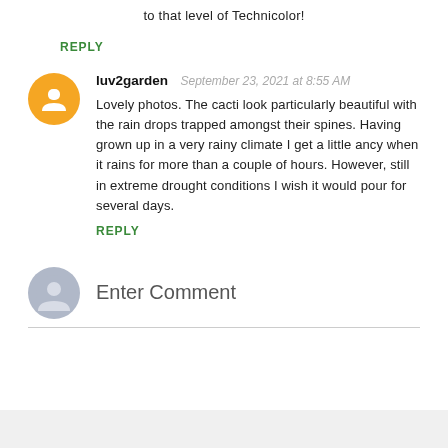to that level of Technicolor!
REPLY
luv2garden  September 23, 2021 at 8:55 AM
Lovely photos. The cacti look particularly beautiful with the rain drops trapped amongst their spines. Having grown up in a very rainy climate I get a little ancy when it rains for more than a couple of hours. However, still in extreme drought conditions I wish it would pour for several days.
REPLY
Enter Comment